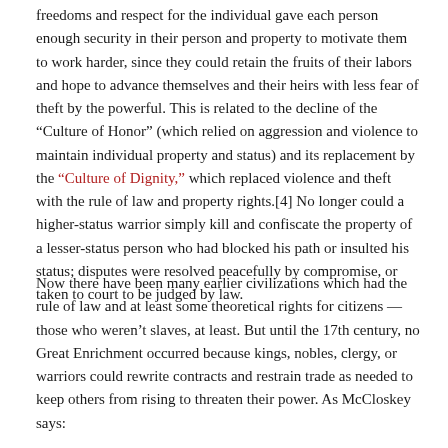freedoms and respect for the individual gave each person enough security in their person and property to motivate them to work harder, since they could retain the fruits of their labors and hope to advance themselves and their heirs with less fear of theft by the powerful. This is related to the decline of the “Culture of Honor” (which relied on aggression and violence to maintain individual property and status) and its replacement by the “Culture of Dignity,” which replaced violence and theft with the rule of law and property rights.[4] No longer could a higher-status warrior simply kill and confiscate the property of a lesser-status person who had blocked his path or insulted his status; disputes were resolved peacefully by compromise, or taken to court to be judged by law.
Now there have been many earlier civilizations which had the rule of law and at least some theoretical rights for citizens — those who weren’t slaves, at least. But until the 17th century, no Great Enrichment occurred because kings, nobles, clergy, or warriors could rewrite contracts and restrain trade as needed to keep others from rising to threaten their power. As McCloskey says: